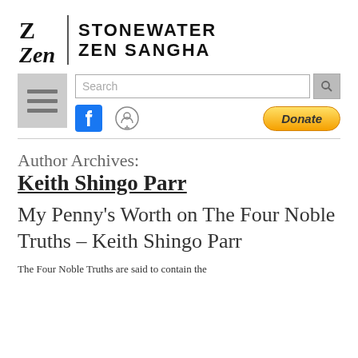[Figure (logo): Stonewater Zen Sangha logo with stylized ZEN symbol and text]
[Figure (screenshot): Navigation bar with hamburger menu, search input, Facebook icon, podcast icon, and Donate button]
Author Archives:
Keith Shingo Parr
My Penny’s Worth on The Four Noble Truths – Keith Shingo Parr
The Four Noble Truths are said to contain the